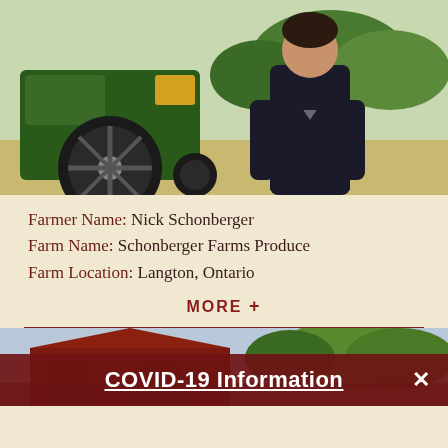[Figure (photo): A man in a black jacket standing in front of a large green tractor with yellow rims, in a farm field setting]
Farmer Name: Nick Schonberger
Farm Name: Schonberger Farms Produce
Farm Location: Langton, Ontario
MORE +
[Figure (photo): Partial view of a red barn structure outdoors with trees in background]
COVID-19 Information